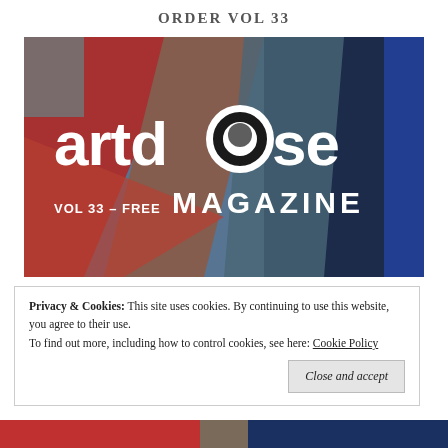ORDER VOL 33
[Figure (photo): Artdose Magazine Vol 33 cover showing abstract painted artwork in red, blue, and grey tones with the artdose magazine logo in white and text 'VOL 33 – FREE']
Privacy & Cookies: This site uses cookies. By continuing to use this website, you agree to their use.
To find out more, including how to control cookies, see here: Cookie Policy
Close and accept